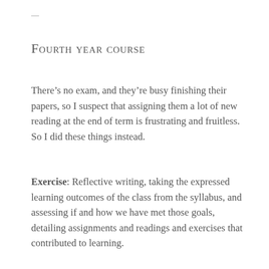—
Fourth year course
There's no exam, and they're busy finishing their papers, so I suspect that assigning them a lot of new reading at the end of term is frustrating and fruitless. So I did these things instead.
Exercise: Reflective writing, taking the expressed learning outcomes of the class from the syllabus, and assessing if and how we have met those goals, detailing assignments and readings and exercises that contributed to learning.